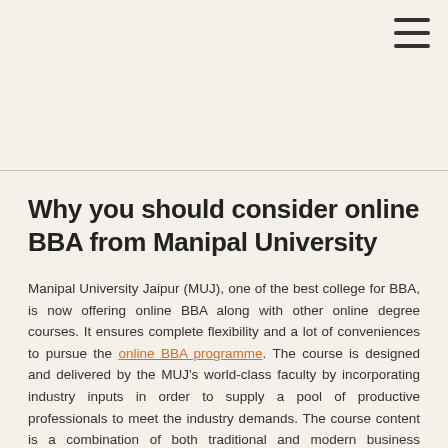[Figure (other): Hamburger menu icon in top right corner]
Why you should consider online BBA from Manipal University
Manipal University Jaipur (MUJ), one of the best college for BBA, is now offering online BBA along with other online degree courses. It ensures complete flexibility and a lot of conveniences to pursue the online BBA programme. The course is designed and delivered by the MUJ's world-class faculty by incorporating industry inputs in order to supply a pool of productive professionals to meet the industry demands. The course content is a combination of both traditional and modern business administration and management concepts.